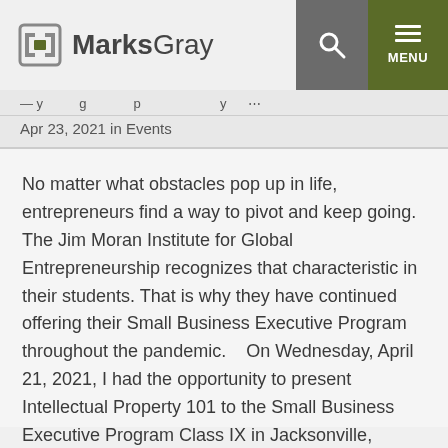MarksGray
Apr 23, 2021 in Events
No matter what obstacles pop up in life, entrepreneurs find a way to pivot and keep going. The Jim Moran Institute for Global Entrepreneurship recognizes that characteristic in their students. That is why they have continued offering their Small Business Executive Program throughout the pandemic.   On Wednesday, April 21, 2021, I had the opportunity to present Intellectual Property 101 to the Small Business Executive Program Class IX in Jacksonville, Florida. The members of the class [...]